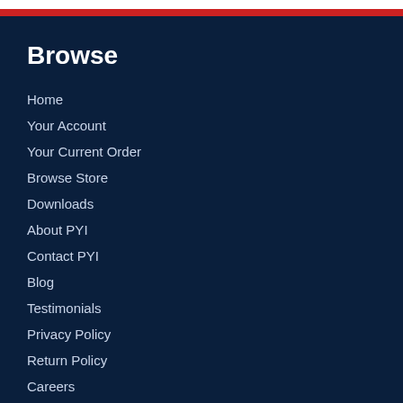Browse
Home
Your Account
Your Current Order
Browse Store
Downloads
About PYI
Contact PYI
Blog
Testimonials
Privacy Policy
Return Policy
Careers
Follow Us